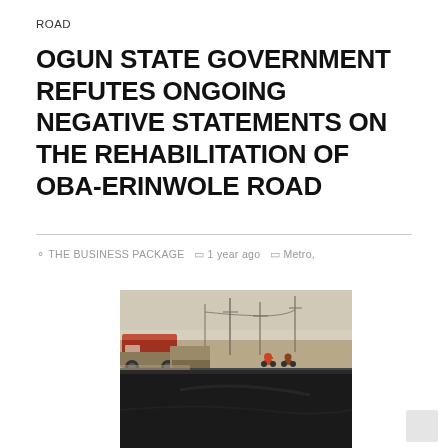ROAD
OGUN STATE GOVERNMENT REFUTES ONGOING NEGATIVE STATEMENTS ON THE REHABILITATION OF OBA-ERINWOLE ROAD
THE BUSINESS PACKAGE  1 year ago  Metro,
[Figure (photo): Road construction scene showing freshly laid black asphalt in the foreground with construction machinery and motorcyclists visible in the background under a hazy sky with utility poles.]